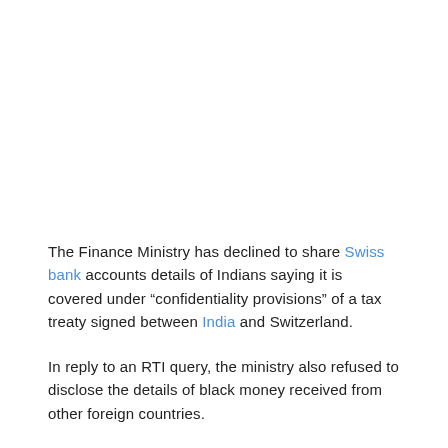The Finance Ministry has declined to share Swiss bank accounts details of Indians saying it is covered under “confidentiality provisions” of a tax treaty signed between India and Switzerland.
In reply to an RTI query, the ministry also refused to disclose the details of black money received from other foreign countries.